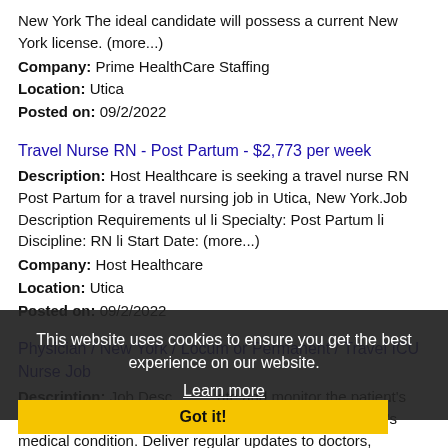New York The ideal candidate will possess a current New York license. (more...)
Company: Prime HealthCare Staffing
Location: Utica
Posted on: 09/2/2022
Travel Nurse RN - Post Partum - $2,773 per week
Description: Host Healthcare is seeking a travel nurse RN Post Partum for a travel nursing job in Utica, New York.Job Description Requirements ul li Specialty: Post Partum li Discipline: RN li Start Date: (more...)
Company: Host Healthcare
Location: Utica
Posted on: 09/2/2022
Physician / New York / Locum or Permanent / Travel ICU Nurse Job
Description: Job Description...ate and monitor the patient's progress. Identify sudden or subtle changes in a patient's medical condition. Deliver regular updates to doctors, patients, and their family members. (more...)
Company: All Medical Personnel
Location: Utica
Posted on: 09/2/2022
This website uses cookies to ensure you get the best experience on our website. Learn more Got it!